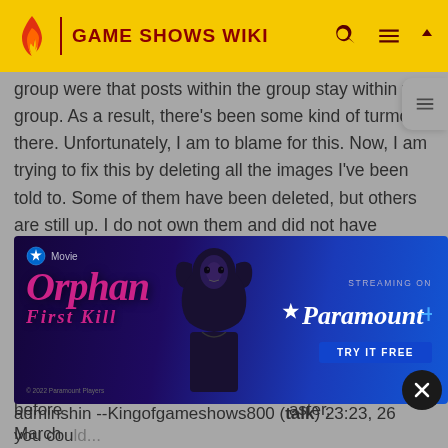GAME SHOWS WIKI
group were that posts within the group stay within the group. As a result, there's been some kind of turmoil there. Unfortunately, I am to blame for this. Now, I am trying to fix this by deleting all the images I've been told to. Some of them have been deleted, but others are still up. I do not own them and did not have permission to post. This is why you should honor the request and take them down.Vnisanian2001 (talk) 20:06, 26 March 2021 (UTC)
WHOA! My apologies to you and John Ricci Jr.! But serious ...ides running ...me before ...aster, you cou...
[Figure (screenshot): Advertisement for Orphan: First Kill movie, streaming on Paramount+. Shows a dark-haired woman on a blue/purple background. Includes 'TRY IT FREE' button.]
adminshin --Kingofgameshows800 (talk) 23:23, 26 March